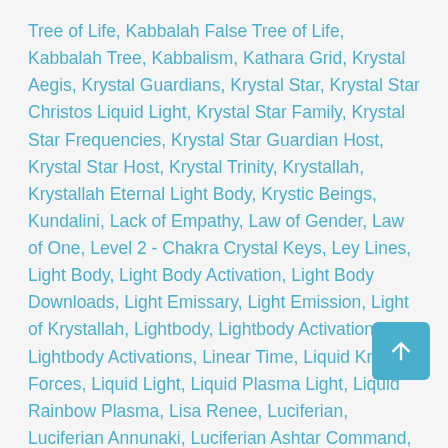Tree of Life, Kabbalah False Tree of Life, Kabbalah Tree, Kabbalism, Kathara Grid, Krystal Aegis, Krystal Guardians, Krystal Star, Krystal Star Christos Liquid Light, Krystal Star Family, Krystal Star Frequencies, Krystal Star Guardian Host, Krystal Star Host, Krystal Trinity, Krystallah, Krystallah Eternal Light Body, Krystic Beings, Kundalini, Lack of Empathy, Law of Gender, Law of One, Level 2 - Chakra Crystal Keys, Ley Lines, Light Body, Light Body Activation, Light Body Downloads, Light Emissary, Light Emission, Light of Krystallah, Lightbody, Lightbody Activation, Lightbody Activations, Linear Time, Liquid Krystal Forces, Liquid Light, Liquid Plasma Light, Liquid Rainbow Plasma, Lisa Renee, Luciferian, Luciferian Annunaki, Luciferian Ashtar Command, Luciferian Forces, Luciferian Galactic Federation, Luciferian Rebellion, Magnetic Field, Magnum Opus, Maji Grail King, Male and Female Principles, Mandatory Vaccination, Masculine and Feminine Principles, Master Christos Collective, Matrix, Megiddo, Megiddo Archetypal Battle, Megiddo Archetype, Megiddo Archetype Battle, Megiddo Battle, Memory Clearing, Merging Timelines